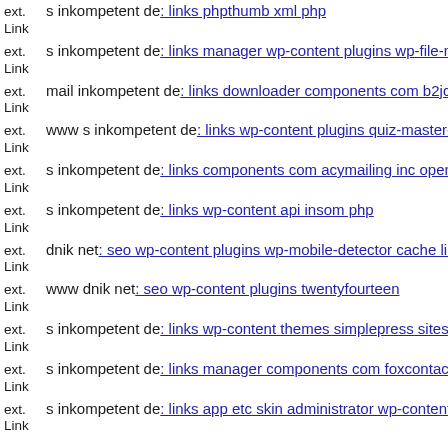ext. Link s inkompetent de: links phpthumb xml php
ext. Link s inkompetent de: links manager wp-content plugins wp-file-m
ext. Link mail inkompetent de: links downloader components com b2jco
ext. Link www s inkompetent de: links wp-content plugins quiz-master-n
ext. Link s inkompetent de: links components com acymailing inc openfl
ext. Link s inkompetent de: links wp-content api insom php
ext. Link dnik net: seo wp-content plugins wp-mobile-detector cache libs
ext. Link www dnik net: seo wp-content plugins twentyfourteen
ext. Link s inkompetent de: links wp-content themes simplepress sites de
ext. Link s inkompetent de: links manager components com foxcontact s
ext. Link s inkompetent de: links app etc skin administrator wp-content t